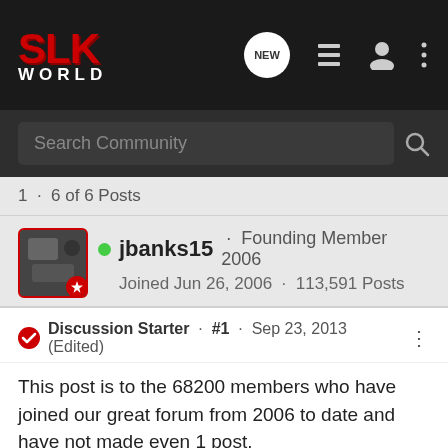[Figure (logo): SLK World forum logo with red SLK text and navigation icons]
Search Community
1 · 6 of 6 Posts
jbanks15 · Founding Member 2006
Joined Jun 26, 2006 · 113,591 Posts
Discussion Starter · #1 · Sep 23, 2013 (Edited)
This post is to the 68200 members who have joined our great forum from 2006 to date and have not made even 1 post.

How to post an introduction :-
Go to <New Members Introduce Yourself Here>
<How to start a new thread>

Yes! New members who seek wonderful free information and knowledge contained within these forum walls.